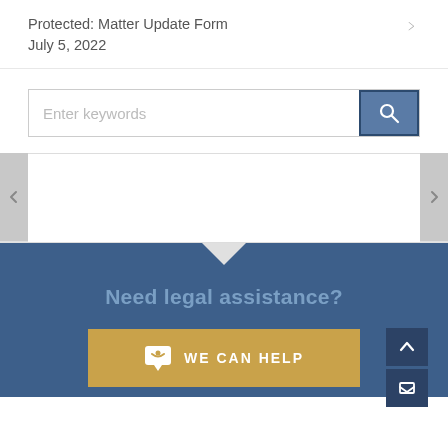Protected: Matter Update Form
July 5, 2022
[Figure (screenshot): Search bar with 'Enter keywords' placeholder text and a blue search button with magnifying glass icon]
[Figure (infographic): Navigation slider area with left and right arrow panels on grey background, white content area in middle]
Need legal assistance?
[Figure (infographic): Golden 'WE CAN HELP' button with chat/heart icon, on blue background. Scroll-to-top and email buttons on right side.]